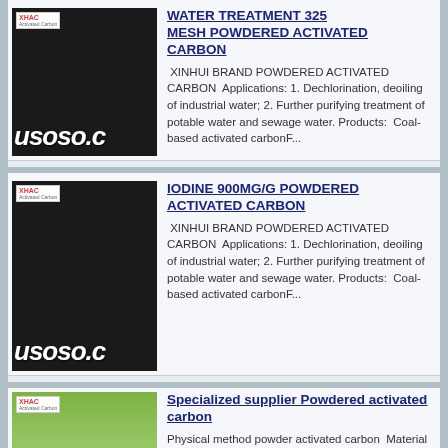[Figure (photo): Product image of black powdered activated carbon with usoso.c watermark and XHAC logo badge]
WATER TREATMENT 325 MESH POWDERED ACTIVATED CARBON
XINHUI BRAND POWDERED ACTIVATED CARBON  Applications: 1. Dechlorination, deoiling of industrial water; 2. Further purifying treatment of potable water and sewage water. Products:  Coal-based activated carbonF...
[Figure (photo): Product image of black powdered activated carbon with usoso.c watermark and XHAC logo badge]
IODINE 900MG/G POWDERED ACTIVATED CARBON
XINHUI BRAND POWDERED ACTIVATED CARBON  Applications: 1. Dechlorination, deoiling of industrial water; 2. Further purifying treatment of potable water and sewage water. Products:  Coal-based activated carbonF...
[Figure (photo): Product image of black powdered activated carbon with usoso.c watermark and XHAC logo badge, green background]
Specialized supplier Powdered activated carbon
Physical method powder activated carbon  Material : high-quality charcoal  Production process : through steam cremation,refined process,crushing. Ho...